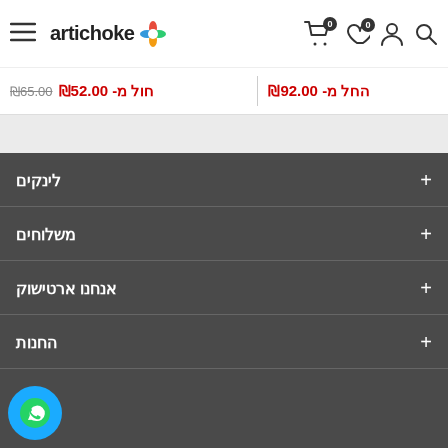artichoke — site header with cart (0), wishlist (0), account, search, logo, menu
החל מ- ₪92.00 | חול מ- ₪52.00 ₪65.00
לינקים
משלוחים
אנחנו ארטישוק
החנות